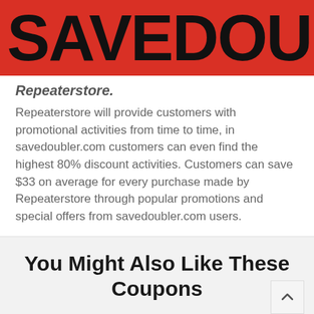SAVEDOUB
Repeaterstore.
Repeaterstore will provide customers with promotional activities from time to time, in savedoubler.com customers can even find the highest 80% discount activities. Customers can save $33 on average for every purchase made by Repeaterstore through popular promotions and special offers from savedoubler.com users.
You Might Also Like These Coupons
Free Next Day Delivery